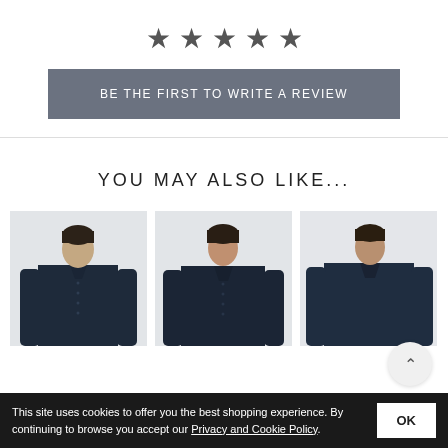[Figure (other): Five dark grey star rating icons displayed in a row]
BE THE FIRST TO WRITE A REVIEW
YOU MAY ALSO LIKE...
[Figure (photo): Man wearing a dark navy long-sleeve button-down shirt, product card 1]
[Figure (photo): Man wearing a dark navy long-sleeve button-down shirt, product card 2]
[Figure (photo): Man wearing a dark navy long-sleeve shirt, product card 3 (partially cropped)]
This site uses cookies to offer you the best shopping experience. By continuing to browse you accept our Privacy and Cookie Policy.
OK